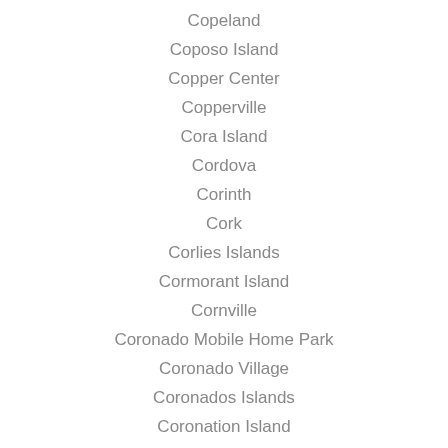Copeland
Coposo Island
Copper Center
Copperville
Cora Island
Cordova
Corinth
Cork
Corlies Islands
Cormorant Island
Cornville
Coronado Mobile Home Park
Coronado Village
Coronados Islands
Coronation Island